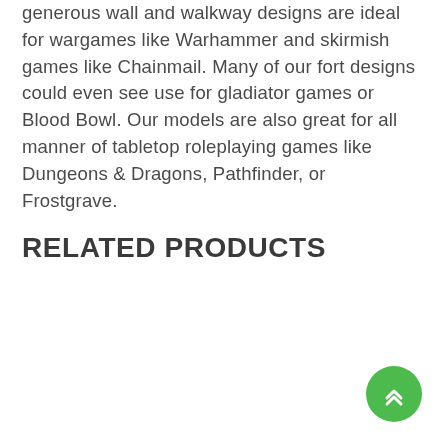generous wall and walkway designs are ideal for wargames like Warhammer and skirmish games like Chainmail. Many of our fort designs could even see use for gladiator games or Blood Bowl. Our models are also great for all manner of tabletop roleplaying games like Dungeons & Dragons, Pathfinder, or Frostgrave.
Related products